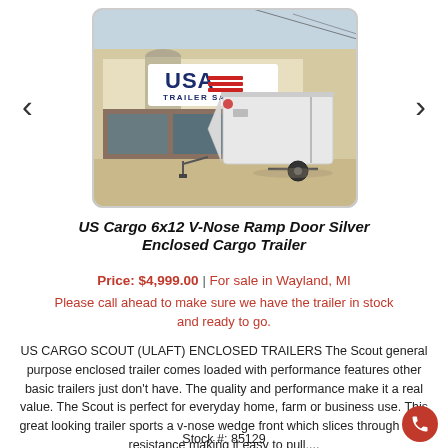[Figure (photo): White enclosed cargo trailer parked in front of USA Trailer Sales building, a white structure with a large USA Trailer Sales sign and red stripes, taken outdoors on a gravel lot.]
US Cargo 6x12 V-Nose Ramp Door Silver Enclosed Cargo Trailer
Price: $4,999.00 | For sale in Wayland, MI
Please call ahead to make sure we have the trailer in stock and ready to go.
US CARGO SCOUT (ULAFT) ENCLOSED TRAILERS The Scout general purpose enclosed trailer comes loaded with performance features other basic trailers just don't have. The quality and performance make it a real value. The Scout is perfect for everyday home, farm or business use. This great looking trailer sports a v-nose wedge front which slices through wind resistance making it easy to pull....
Stock #: 85129